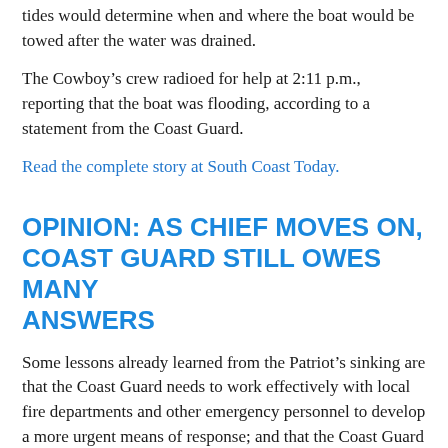tides would determine when and where the boat would be towed after the water was drained.
The Cowboy's crew radioed for help at 2:11 p.m., reporting that the boat was flooding, according to a statement from the Coast Guard.
Read the complete story at South Coast Today.
OPINION: AS CHIEF MOVES ON, COAST GUARD STILL OWES MANY ANSWERS
Some lessons already learned from the Patriot's sinking are that the Coast Guard needs to work effectively with local fire departments and other emergency personnel to develop a more urgent means of response; and that the Coast Guard needs to be able to work with NMFS to have consistent VMS access in case of an emergency at sea.